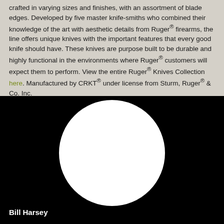crafted in varying sizes and finishes, with an assortment of blade edges. Developed by five master knife-smiths who combined their knowledge of the art with aesthetic details from Ruger® firearms, the line offers unique knives with the important features that every good knife should have. These knives are purpose built to be durable and highly functional in the environments where Ruger® customers will expect them to perform. View the entire Ruger® Knives Collection here. Manufactured by CRKT® under license from Sturm, Ruger® & Co. Inc.
[Figure (photo): Black background with a large white circle in the center, representing a portrait photo placeholder or logo area. Below the circle the name 'Bill Harsey' appears in bold white text.]
Bill Harsey